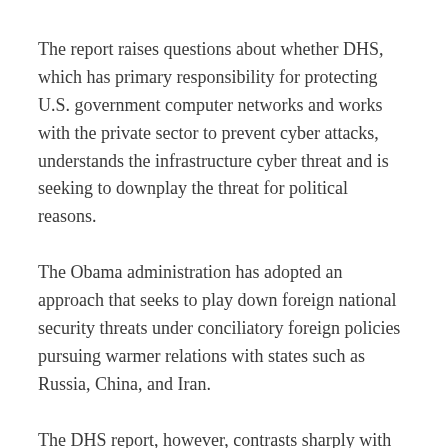The report raises questions about whether DHS, which has primary responsibility for protecting U.S. government computer networks and works with the private sector to prevent cyber attacks, understands the infrastructure cyber threat and is seeking to downplay the threat for political reasons.
The Obama administration has adopted an approach that seeks to play down foreign national security threats under conciliatory foreign policies pursuing warmer relations with states such as Russia, China, and Iran.
The DHS report, however, contrasts sharply with recent statements by Adm. Mike Rogers, commander of the Cyber Command, who warned recently that a major cyber attack by